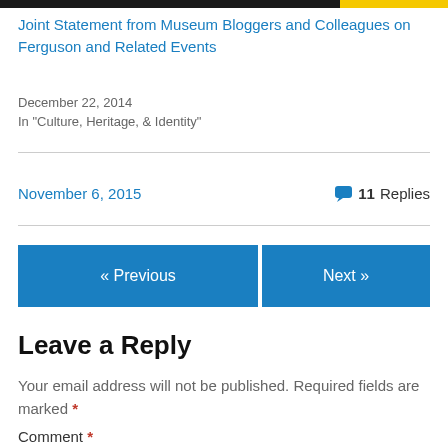[Figure (other): Top navigation bar with dark blue and yellow segments]
Joint Statement from Museum Bloggers and Colleagues on Ferguson and Related Events
December 22, 2014
In "Culture, Heritage, & Identity"
November 6, 2015
11 Replies
« Previous
Next »
Leave a Reply
Your email address will not be published. Required fields are marked *
Comment *